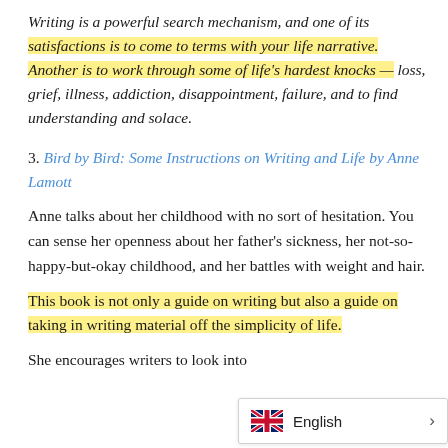Writing is a powerful search mechanism, and one of its satisfactions is to come to terms with your life narrative. Another is to work through some of life's hardest knocks — loss, grief, illness, addiction, disappointment, failure, and to find understanding and solace.
3. Bird by Bird: Some Instructions on Writing and Life by Anne Lamott
Anne talks about her childhood with no sort of hesitation. You can sense her openness about her father's sickness, her not-so-happy-but-okay childhood, and her battles with weight and hair.
This book is not only a guide on writing but also a guide on taking in writing material off the simplicity of life.
She encourages writers to look into t